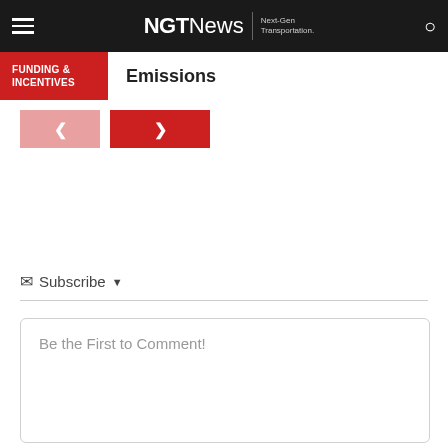NGTNews | Next-Gen Transportation.
FUNDING & INCENTIVES | Emissions
[Figure (other): Pagination controls: left arrow (previous) and right arrow (next) navigation buttons]
Subscribe ▼
Be the First to Comment!